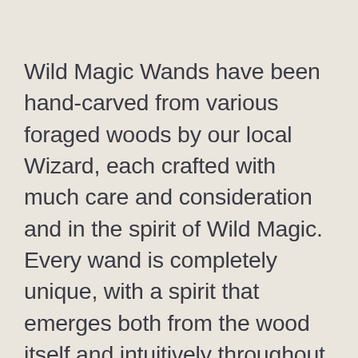Wild Magic Wands have been hand-carved from various foraged woods by our local Wizard, each crafted with much care and consideration and in the spirit of Wild Magic. Every wand is completely unique, with a spirit that emerges both from the wood itself and intuitively throughout the creative process.
Intended for Witches and Wizards already practicing their craft, who may feel drawn to a particular wand, as well as for the next generation of earth stewards; with which they may play and exercise their imaginative abilities - the greatest magical power they possess!